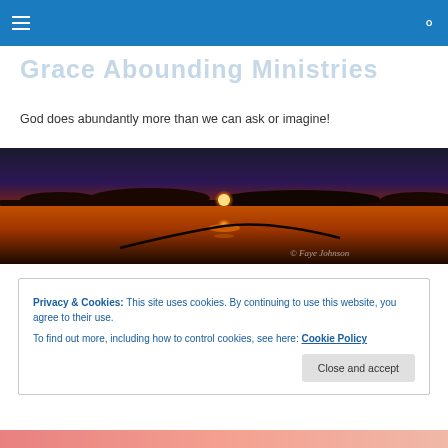Navigation bar with hamburger menu and search icon
Grace Abounding Ministries
God does abundantly more than we can ask or imagine!
[Figure (photo): Sunset over a calm lake with orange and red sky, silhouette of a bird, reflection in water. Watermark: © Faye Johnson]
Privacy & Cookies: This site uses cookies. By continuing to use this website, you agree to their use.
To find out more, including how to control cookies, see here: Cookie Policy
[Figure (photo): Bottom edge of a pink/rose colored photo, partially visible]